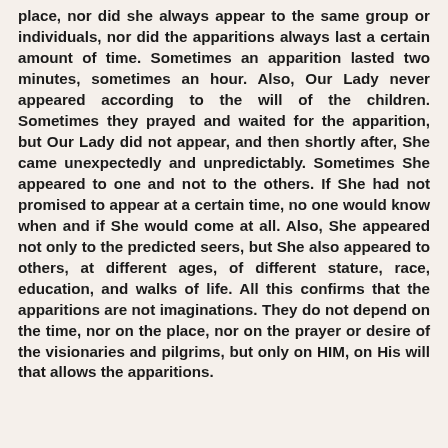place, nor did she always appear to the same group or individuals, nor did the apparitions always last a certain amount of time. Sometimes an apparition lasted two minutes, sometimes an hour. Also, Our Lady never appeared according to the will of the children. Sometimes they prayed and waited for the apparition, but Our Lady did not appear, and then shortly after, She came unexpectedly and unpredictably. Sometimes She appeared to one and not to the others. If She had not promised to appear at a certain time, no one would know when and if She would come at all. Also, She appeared not only to the predicted seers, but She also appeared to others, at different ages, of different stature, race, education, and walks of life. All this confirms that the apparitions are not imaginations. They do not depend on the time, nor on the place, nor on the prayer or desire of the visionaries and pilgrims, but only on HIM, on His will that allows the apparitions.